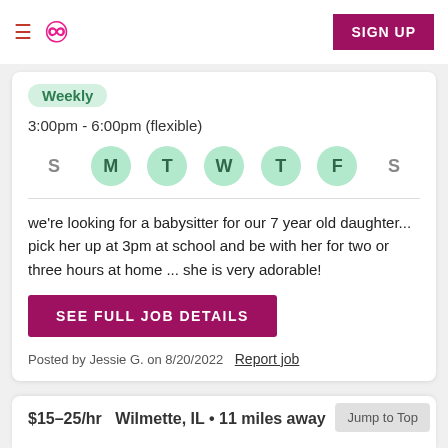≡ ∞ SIGN UP
Weekly
3:00pm - 6:00pm (flexible)
[Figure (infographic): Days of week selector showing S M T W T F S with M, T, W, T, F highlighted in green circles]
we're looking for a babysitter for our 7 year old daughter... pick her up at 3pm at school and be with her for two or three hours at home ... she is very adorable!
SEE FULL JOB DETAILS
Posted by Jessie G. on 8/20/2022  Report job
$15–25/hr   Wilmette, IL • 11 miles away
Jump to Top